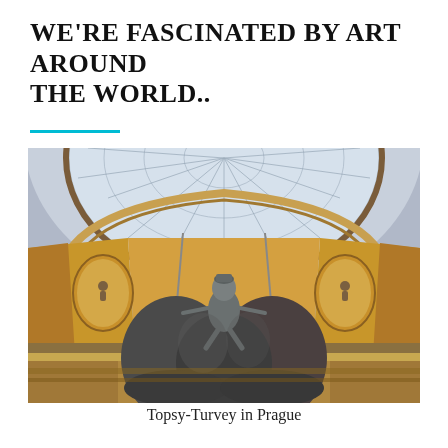WE'RE FASCINATED BY ART AROUND THE WORLD..
[Figure (photo): Interior photo of an ornate domed hall in Prague, with a large bronze sculpture of a man sitting sideways on top of large rounded forms (Topsy-Turvey sculpture), suspended by ropes. The ceiling features a decorative stained glass dome and painted arches with golden ornamentation and oval medallion reliefs.]
Topsy-Turvey in Prague